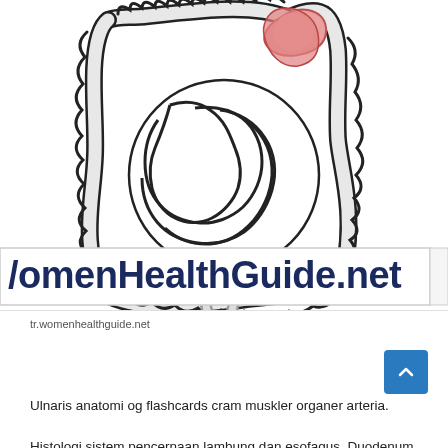[Figure (illustration): Illustration of the human digestive/intestinal system (large and small intestines) viewed from the front, with a highlighted pink/red area at the top (stomach/duodenum region). The intestines are drawn in black and white with a gray interior fill. A watermark banner reading 'WomenHealthGuide.net' in dark navy bold text overlays the lower portion of the image.]
tr.womenhealthguide.net
Ulnaris anatomi og flashcards cram muskler organer arteria.
Histologi sistem pencernaan lambung dan esofagus. Duodenum